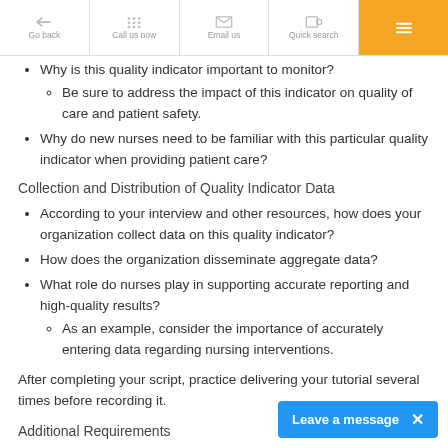[Figure (screenshot): Navigation bar with Go back, Call us now, Email us, Quick search buttons and orange menu button]
Why is this quality indicator important to monitor?
Be sure to address the impact of this indicator on quality of care and patient safety.
Why do new nurses need to be familiar with this particular quality indicator when providing patient care?
Collection and Distribution of Quality Indicator Data
According to your interview and other resources, how does your organization collect data on this quality indicator?
How does the organization disseminate aggregate data?
What role do nurses play in supporting accurate reporting and high-quality results?
As an example, consider the importance of accurately entering data regarding nursing interventions.
After completing your script, practice delivering your tutorial several times before recording it.
Additional Requirements